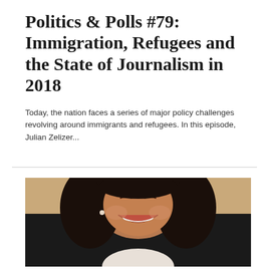Politics & Polls #79: Immigration, Refugees and the State of Journalism in 2018
Today, the nation faces a series of major policy challenges revolving around immigrants and refugees. In this episode, Julian Zelizer...
[Figure (photo): Portrait photo of a woman with curly dark hair, wearing glasses pushed up on her forehead, smiling broadly, dressed in a black blazer over a white top, against a warm beige background.]